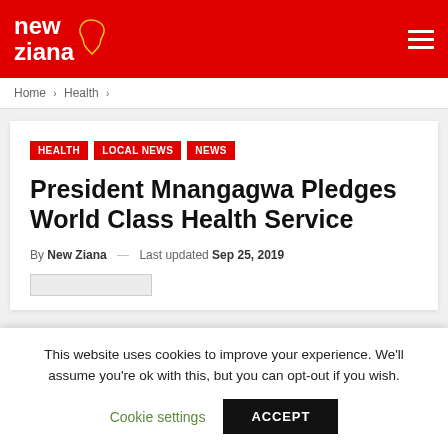New Ziana
Home > Health >
HEALTH  LOCAL NEWS  NEWS
President Mnangagwa Pledges World Class Health Service
By New Ziana — Last updated Sep 25, 2019
This website uses cookies to improve your experience. We'll assume you're ok with this, but you can opt-out if you wish.